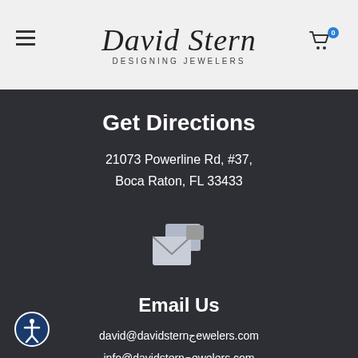David Stern Designing Jewelers
Get Directions
21073 Powerline Rd, #37,
Boca Raton, FL 33433
[Figure (illustration): Email/contact icon showing overlapping envelope and card symbols in white on dark background]
Email Us
david@davidsternجewelers.com
info@davidsternجewelers.com